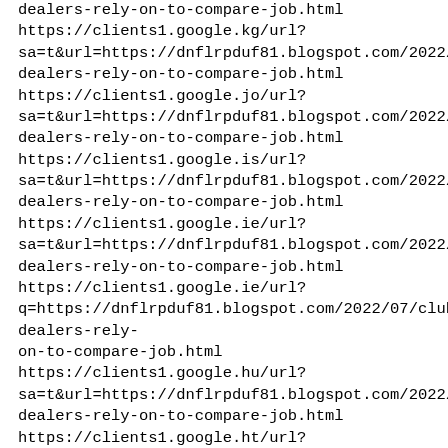dealers-rely-on-to-compare-job.html
https://clients1.google.kg/url?sa=t&url=https://dnflrpduf81.blogspot.com/2022/07/club-dealers-rely-on-to-compare-job.html
https://clients1.google.jo/url?sa=t&url=https://dnflrpduf81.blogspot.com/2022/07/club-dealers-rely-on-to-compare-job.html
https://clients1.google.is/url?sa=t&url=https://dnflrpduf81.blogspot.com/2022/07/club-dealers-rely-on-to-compare-job.html
https://clients1.google.ie/url?sa=t&url=https://dnflrpduf81.blogspot.com/2022/07/club-dealers-rely-on-to-compare-job.html
https://clients1.google.ie/url?q=https://dnflrpduf81.blogspot.com/2022/07/club-dealers-rely-on-to-compare-job.html
https://clients1.google.hu/url?sa=t&url=https://dnflrpduf81.blogspot.com/2022/07/club-dealers-rely-on-to-compare-job.html
https://clients1.google.ht/url?sa=t&url=https://dnflrpduf81.blogspot.com/2022/07/club-